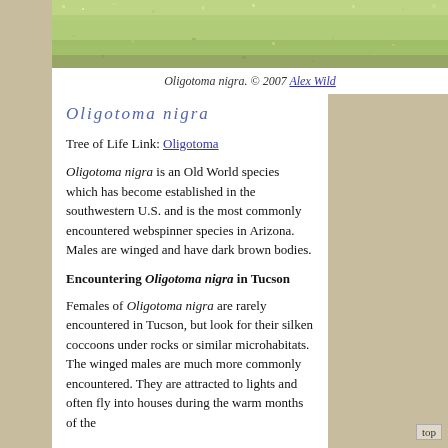[Figure (photo): Top portion of a photo showing a green/mossy textured surface, possibly grass or lichen, cropped at the top of the page.]
Oligotoma nigra. © 2007 Alex Wild
Oligotoma nigra
Tree of Life Link: Oligotoma
Oligotoma nigra is an Old World species which has become established in the southwestern U.S. and is the most commonly encountered webspinner species in Arizona. Males are winged and have dark brown bodies.
Encountering Oligotoma nigra in Tucson
Females of Oligotoma nigra are rarely encountered in Tucson, but look for their silken coccoons under rocks or similar microhabitats. The winged males are much more commonly encountered. They are attracted to lights and often fly into houses during the warm months of the